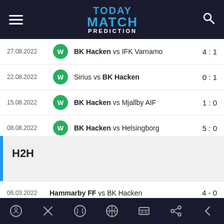[Figure (logo): Today Match Prediction app logo in blue and white on dark background]
| Date | Result | Match | Score |
| --- | --- | --- | --- |
| 27.08.2022 | W | BK Hacken vs IFK Varnamo | 4 : 1 |
| 22.08.2022 | W | Sirius vs BK Hacken | 0 : 1 |
| 15.08.2022 | W | BK Hacken vs Mjallby AIF | 1 : 0 |
| 08.08.2022 | W | BK Hacken vs Helsingborg | 5 : 0 |
H2H
| Date | Match | Score |
| --- | --- | --- |
| 06.03.2022 | Hammarby FF vs BK Hacken | 4 - 0 |
Navigation bar with soccer, cancel, baseball, basketball, scoreboard, share, back icons